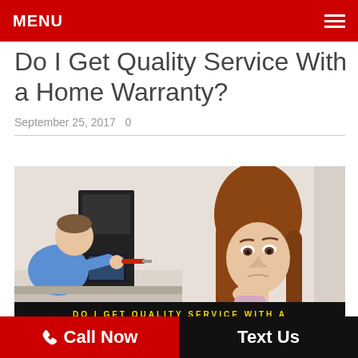MENU
Do I Get Quality Service With a Home Warranty?
September 25, 2017   0
[Figure (photo): Split composite photo: left side shows a male technician working on a kitchen appliance with a screwdriver; right side shows a concerned woman with her hand on her chin, thinking.]
DO I GET QUALITY SERVICE WITH A
Call Now   Text Us